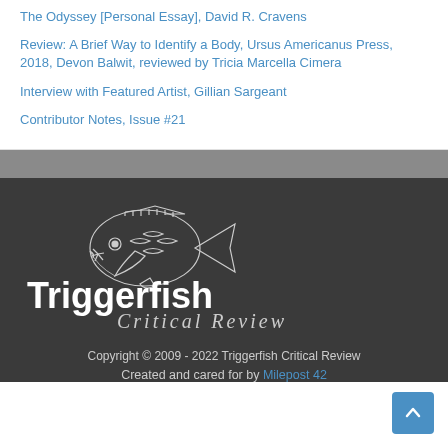The Odyssey [Personal Essay], David R. Cravens
Review: A Brief Way to Identify a Body, Ursus Americanus Press, 2018, Devon Balwit, reviewed by Tricia Marcella Cimera
Interview with Featured Artist, Gillian Sargeant
Contributor Notes, Issue #21
[Figure (logo): Triggerfish Critical Review logo — illustration of a triggerfish above the text 'Triggerfish Critical Review' in white on dark background]
Copyright © 2009 - 2022 Triggerfish Critical Review
Created and cared for by Milepost 42